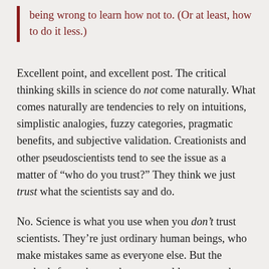being wrong to learn how not to. (Or at least, how to do it less.)
Excellent point, and excellent post. The critical thinking skills in science do not come naturally. What comes naturally are tendencies to rely on intuitions, simplistic analogies, fuzzy categories, pragmatic benefits, and subjective validation. Creationists and other pseudoscientists tend to see the issue as a matter of “who do you trust?” They think we just trust what the scientists say and do.
No. Science is what you use when you don’t trust scientists. They’re just ordinary human beings, who make mistakes same as everyone else. But the methods force them to be accountable — to each other, and to the evidence. That makes science much, much more